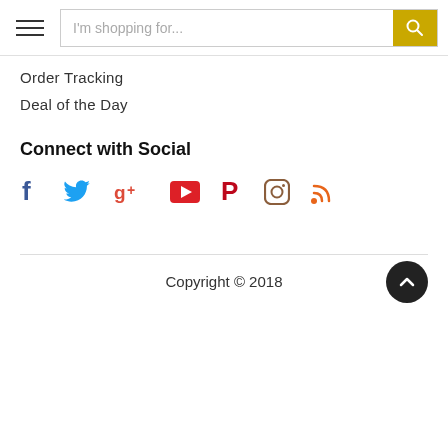Navigation header with hamburger menu and search bar: I'm shopping for...
Order Tracking
Deal of the Day
Connect with Social
[Figure (infographic): Social media icons: Facebook (blue f), Twitter (blue bird), Google+ (red g+), YouTube (red play button), Pinterest (pink P), Instagram (brown camera), RSS (orange feed icon)]
Copyright © 2018